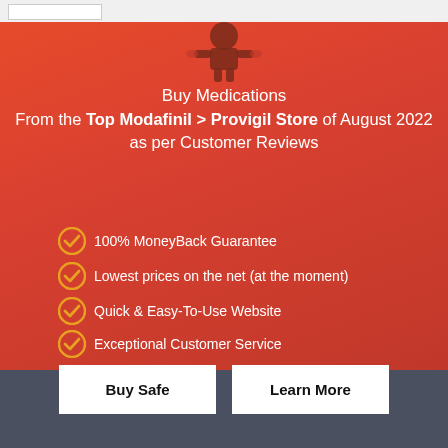[Figure (illustration): Medication pills icon in dark red/brown silhouette against red-orange gradient background]
Buy Medications
From the Top Modafinil > Provigil Store of August 2022
as per Customer Reviews
100% MoneyBack Guarantee
Lowest prices on the net (at the moment)
Quick & Easy-To-Use Website
Exceptional Customer Service
Buy Safe
Learn More